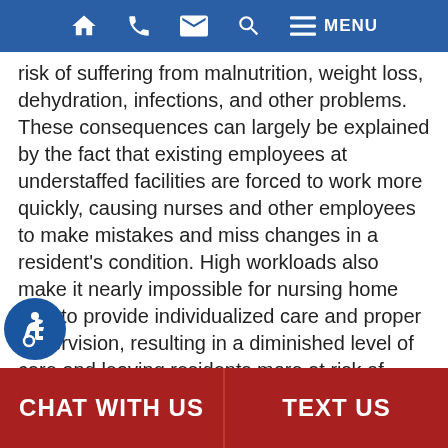Navigation bar with home, phone, email, search, and menu icons
risk of suffering from malnutrition, weight loss, dehydration, infections, and other problems. These consequences can largely be explained by the fact that existing employees at understaffed facilities are forced to work more quickly, causing nurses and other employees to make mistakes and miss changes in a resident's condition. High workloads also make it nearly impossible for nursing home staff to provide individualized care and proper supervision, resulting in a diminished level of care and leaving residents more at risk of suffering from:
Immobility-related harm, such as bed sores, skin infections, and muscle atrophy;
CHAT WITH US | TEXT US